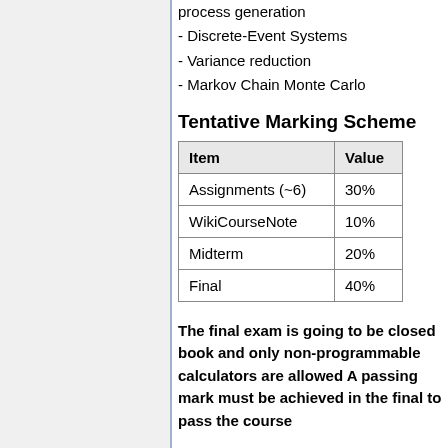process generation
- Discrete-Event Systems
- Variance reduction
- Markov Chain Monte Carlo
Tentative Marking Scheme
| Item | Value |
| --- | --- |
| Assignments (~6) | 30% |
| WikiCourseNote | 10% |
| Midterm | 20% |
| Final | 40% |
The final exam is going to be closed book and only non-programmable calculators are allowed A passing mark must be achieved in the final to pass the course